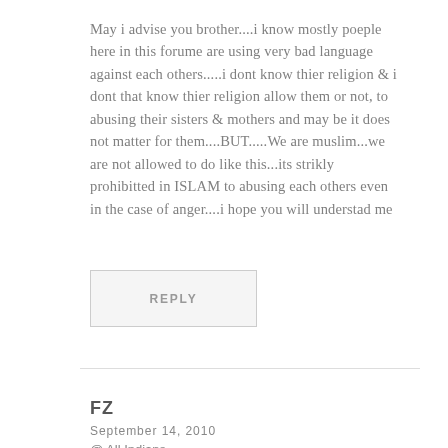May i advise you brother....i know mostly poeple here in this forume are using very bad language against each others.....i dont know thier religion & i dont that know thier religion allow them or not, to abusing their sisters & mothers and may be it does not matter for them....BUT.....We are muslim...we are not allowed to do like this...its strikly prohibitted in ISLAM to abusing each others even in the case of anger....i hope you will understad me
REPLY
FZ
September 14, 2010
@ All Indians